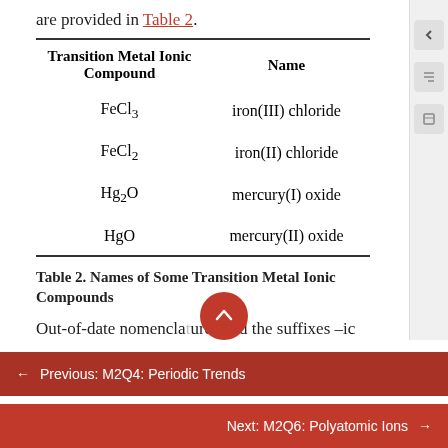are provided in Table 2.
| Transition Metal Ionic Compound | Name |
| --- | --- |
| FeCl3 | iron(III) chloride |
| FeCl2 | iron(II) chloride |
| Hg2O | mercury(I) oxide |
| HgO | mercury(II) oxide |
Table 2. Names of Some Transition Metal Ionic Compounds
Out-of-date nomenclature used the suffixes –ic
← Previous: M2Q4: Periodic Trends
Next: M2Q6: Polyatomic Ions →